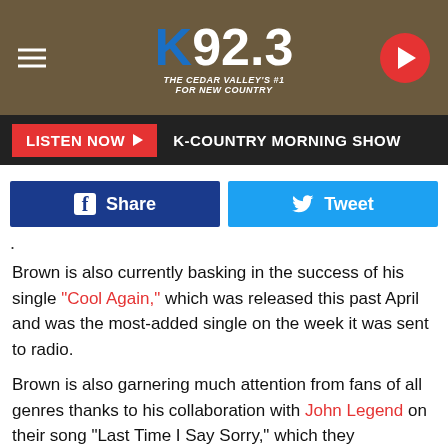K92.3 THE CEDAR VALLEY'S #1 FOR NEW COUNTRY
LISTEN NOW ▶  K-COUNTRY MORNING SHOW
[Figure (screenshot): Facebook Share button and Twitter Tweet button]
.
Brown is also currently basking in the success of his single "Cool Again," which was released this past April and was the most-added single on the week it was sent to radio.
Brown is also garnering much attention from fans of all genres thanks to his collaboration with John Legend on their song "Last Time I Say Sorry," which they performed together on the CBS special, ACM Presents: Our Country earlier this year.
Kane Brown Has More Songs Coming About His Baby Girl